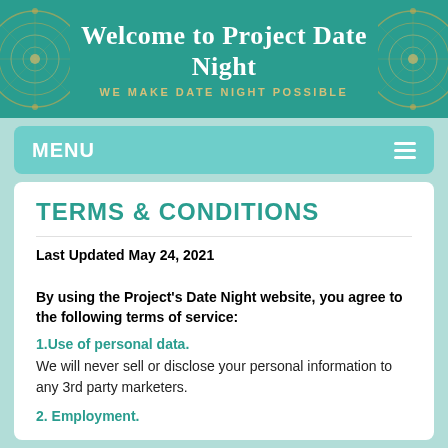Welcome to Project Date Night
WE MAKE DATE NIGHT POSSIBLE
MENU
TERMS & CONDITIONS
Last Updated May 24, 2021
By using the Project's Date Night website, you agree to the following terms of service:
1.Use of personal data.
We will never sell or disclose your personal information to any 3rd party marketers.
2. Employment.